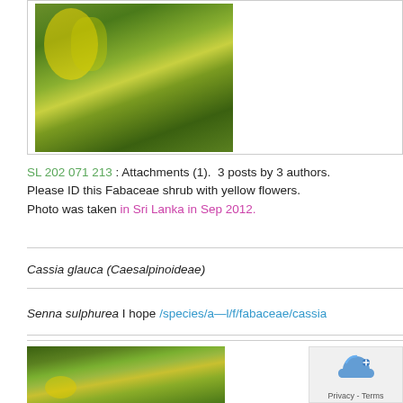[Figure (photo): Photo of a plant with yellow flowers and green foliage, likely Fabaceae shrub]
SL 202 071 213 : Attachments (1).  3 posts by 3 authors.  Please ID this Fabaceae shrub with yellow flowers.  Photo was taken in Sri Lanka in Sep 2012.
Cassia glauca (Caesalpinoideae)
Senna sulphurea I hope /species/a—l/f/fabaceae/cassia
[Figure (photo): Photo of a plant with yellow flowers and green leaves, tree trunk visible in background]